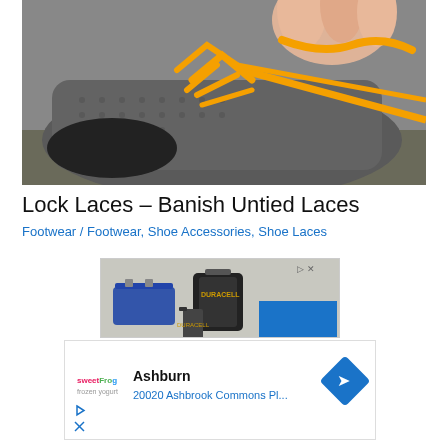[Figure (photo): Close-up photo of a gray athletic shoe being laced with orange shoelaces, fingers visible tying the lace]
Lock Laces – Banish Untied Laces
Footwear / Footwear, Shoe Accessories, Shoe Laces
[Figure (photo): Advertisement showing Duracell batteries and a car battery]
[Figure (photo): Advertisement for SweetFrog showing Ashburn location at 20020 Ashbrook Commons Pl...]